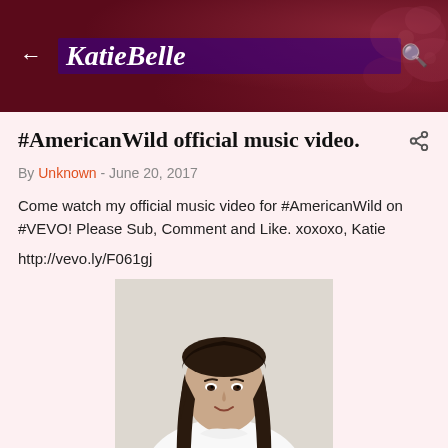KatieBelle
#AmericanWild official music video.
By Unknown - June 20, 2017
Come watch my official music video for #AmericanWild on #VEVO! Please Sub, Comment and Like. xoxoxo, Katie
http://vevo.ly/F061gj
[Figure (photo): Young woman with long dark hair, smiling, wearing a white t-shirt with 'American Wild' logo featuring red lips graphic]